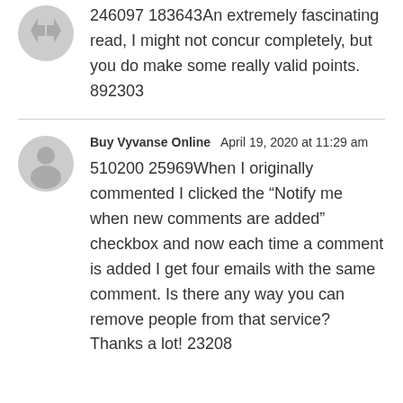246097 183643An extremely fascinating read, I might not concur completely, but you do make some really valid points. 892303
Buy Vyvanse Online  April 19, 2020 at 11:29 am
510200 25969When I originally commented I clicked the “Notify me when new comments are added” checkbox and now each time a comment is added I get four emails with the same comment. Is there any way you can remove people from that service? Thanks a lot! 23208